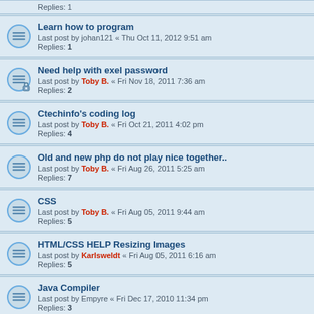Learn how to program
Last post by johan121 « Thu Oct 11, 2012 9:51 am
Replies: 1
Need help with exel password
Last post by Toby B. « Fri Nov 18, 2011 7:36 am
Replies: 2
Ctechinfo's coding log
Last post by Toby B. « Fri Oct 21, 2011 4:02 pm
Replies: 4
Old and new php do not play nice together..
Last post by Toby B. « Fri Aug 26, 2011 5:25 am
Replies: 7
CSS
Last post by Toby B. « Fri Aug 05, 2011 9:44 am
Replies: 5
HTML/CSS HELP Resizing Images
Last post by Karlsweldt « Fri Aug 05, 2011 6:16 am
Replies: 5
Java Compiler
Last post by Empyre « Fri Dec 17, 2010 11:34 pm
Replies: 3
Python Syntax
Last post by Dr.Robotnik « Thu Dec 09, 2010 9:17 am
Replies: 2
Need Program
Last post by Karlsweldt « Thu Oct 07, 2010 3:11 pm
Replies: 3